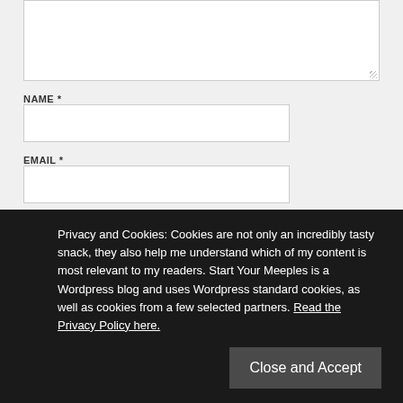[Figure (screenshot): Textarea input box (comment field) at top of page, partially visible, with resize handle in bottom right corner]
NAME *
[Figure (screenshot): Name input text field, empty]
EMAIL *
[Figure (screenshot): Email input text field, empty]
WEBSITE
[Figure (screenshot): Website input text field, empty]
Privacy and Cookies: Cookies are not only an incredibly tasty snack, they also help me understand which of my content is most relevant to my readers. Start Your Meeples is a Wordpress blog and uses Wordpress standard cookies, as well as cookies from a few selected partners. Read the Privacy Policy here.
Close and Accept